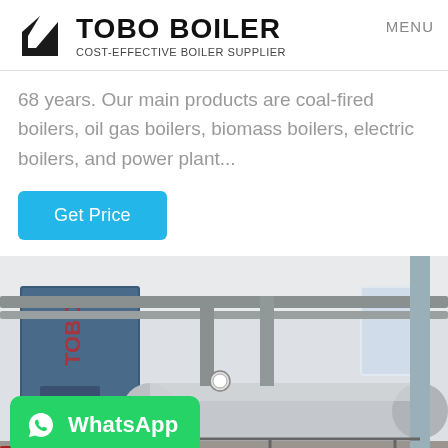TOBO BOILER — COST-EFFECTIVE BOILER SUPPLIER | MENU
68 years. Our main products are coal-fired boilers, oil gas boilers, biomass boilers, electric boilers, and power plant...
Get Price
[Figure (photo): Industrial boiler room with large horizontal cylindrical boilers, blue vertical boiler unit on the left, silver insulated piping overhead, interior of a white industrial building.]
WhatsApp